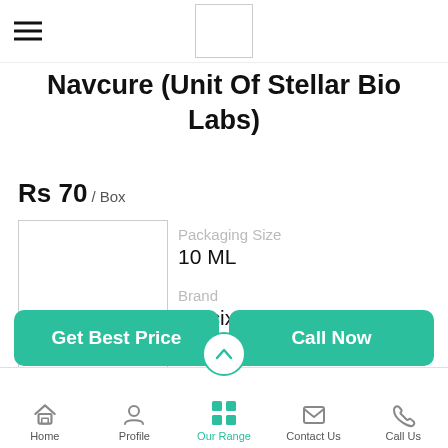[Figure (logo): Hamburger menu icon (three horizontal lines) at top left]
[Figure (logo): White square logo box centered in top navigation bar]
Navcure (Unit Of Stellar Bio Labs)
Rs 70 / Box
[Figure (photo): Product image placeholder (empty white rectangle with border)]
Packaging Size
10 ML
Brand
Stecix
Composition
...more
Get Best Price
Call Now
Home  Profile  Our Range  Contact Us  Call Us